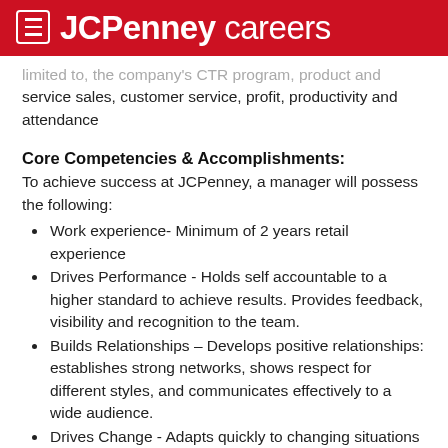JCPenney careers
limited to, the company's CTR program, product and service sales, customer service, profit, productivity and attendance
Core Competencies & Accomplishments:
To achieve success at JCPenney, a manager will possess the following:
Work experience- Minimum of 2 years retail experience
Drives Performance - Holds self accountable to a higher standard to achieve results. Provides feedback, visibility and recognition to the team.
Builds Relationships – Develops positive relationships: establishes strong networks, shows respect for different styles, and communicates effectively to a wide audience.
Drives Change - Adapts quickly to changing situations with energy and a positive attitude. Coaches others through change.
Shows Courage – A confident leader; willing to take on challenging assignments. Acts in accordance with beliefs